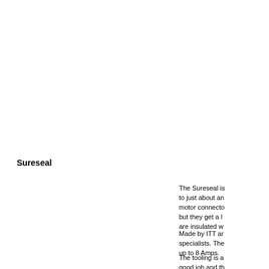Sureseal
The Sureseal is to just about an motor connecto but they get a l are insulated w
Made by ITT ar specialists. The up to 8 Amps.
The tooling is a good job and th special tool. Ho